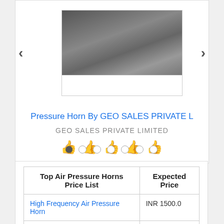[Figure (photo): Product photo of a Pressure Horn in plastic packaging, displayed inside a carousel card with left and right navigation arrows.]
Pressure Horn By GEO SALES PRIVATE L
GEO SALES PRIVATE LIMITED
👍👍👍👍👍
● ○ ○ ○ ○ ○ ○
| Top Air Pressure Horns Price List | Expected Price |
| --- | --- |
| High Frequency Air Pressure Horn | INR 1500.0 |
| Air Pressure Horn... | INR 2000.0... |